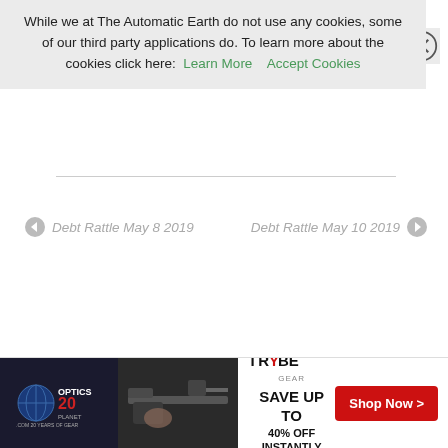While we at The Automatic Earth do not use any cookies, some of our third party applications do. To learn more about the cookies click here: Learn More   Accept Cookies
← Debt Rattle May 8 2019
Debt Rattle May 10 2019 →
[Figure (screenshot): Advertisement banner for Optics Planet / Trybe Gear: 'SAVE UP TO 40% OFF INSTANTLY' with Shop Now button and firearm image]